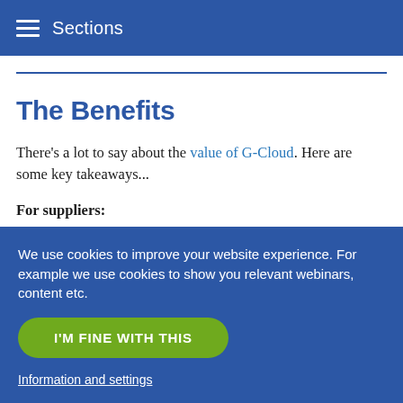≡ Sections
The Benefits
There's a lot to say about the value of G-Cloud. Here are some key takeaways...
For suppliers:
G-Cloud is open to cloud suppliers of all sizes. Previously,
We use cookies to improve your website experience. For example we use cookies to show you relevant webinars, content etc.
I'M FINE WITH THIS
Information and settings